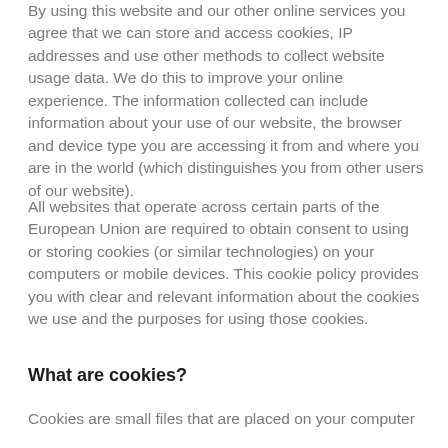By using this website and our other online services you agree that we can store and access cookies, IP addresses and use other methods to collect website usage data. We do this to improve your online experience. The information collected can include information about your use of our website, the browser and device type you are accessing it from and where you are in the world (which distinguishes you from other users of our website).
All websites that operate across certain parts of the European Union are required to obtain consent to using or storing cookies (or similar technologies) on your computers or mobile devices. This cookie policy provides you with clear and relevant information about the cookies we use and the purposes for using those cookies.
What are cookies?
Cookies are small files that are placed on your computer